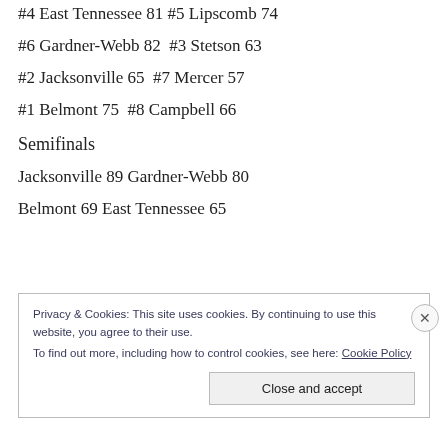#4 East Tennessee 81 #5 Lipscomb 74
#6 Gardner-Webb 82  #3 Stetson 63
#2 Jacksonville 65  #7 Mercer 57
#1 Belmont 75  #8 Campbell 66
Semifinals
Jacksonville 89 Gardner-Webb 80
Belmont 69 East Tennessee 65
Privacy & Cookies: This site uses cookies. By continuing to use this website, you agree to their use.
To find out more, including how to control cookies, see here: Cookie Policy